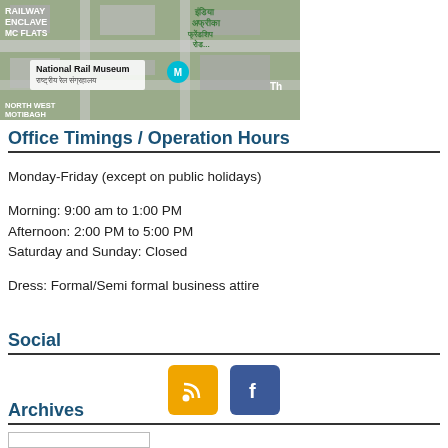[Figure (map): Satellite map showing National Rail Museum area in New Delhi, with labels: RAILWAY ENCLAVE, MC FLATS, National Rail Museum, राष्ट्रीय रेल संग्रहालय, NORTH WEST MOTIBAGH]
Office Timings / Operation Hours
Monday-Friday (except on public holidays)
Morning: 9:00 am to 1:00 PM
Afternoon: 2:00 PM to 5:00 PM
Saturday and Sunday: Closed
Dress: Formal/Semi formal business attire
Social
[Figure (infographic): RSS feed icon (orange/yellow square with RSS symbol) and Facebook icon (blue square with f symbol)]
Archives